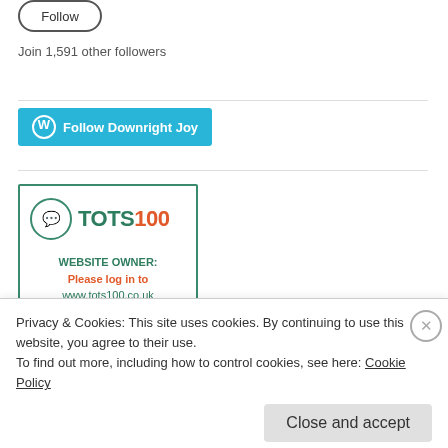[Figure (other): Follow button — rounded rectangle button with text 'Follow']
Join 1,591 other followers
[Figure (other): WordPress 'Follow Downright Joy' button — teal/cyan rounded button with WordPress W icon]
[Figure (other): TOTS100 badge — green-bordered box with TOTS100 logo and message: WEBSITE OWNER: Please log in to www.tots100.co.uk and update your badge code]
Privacy & Cookies: This site uses cookies. By continuing to use this website, you agree to their use.
To find out more, including how to control cookies, see here: Cookie Policy